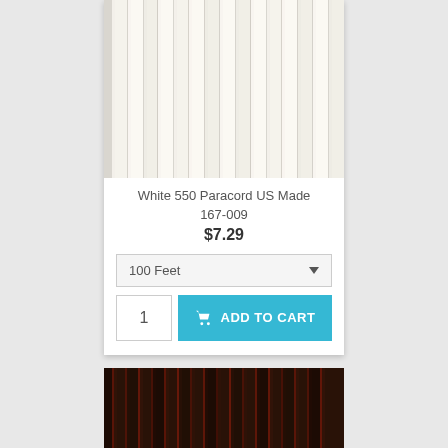[Figure (photo): Close-up photo of white 550 paracord rope texture]
White 550 Paracord US Made
167-009
$7.29
100 Feet
1
ADD TO CART
[Figure (photo): Close-up photo of dark red and black speckled 550 paracord rope texture]